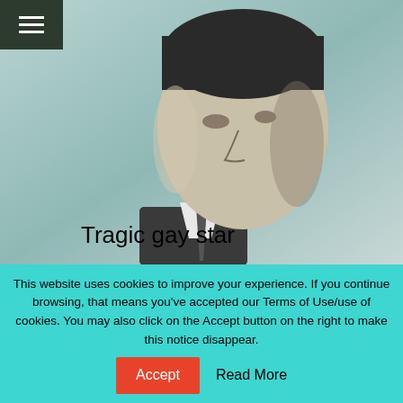[Figure (photo): Black and white profile portrait of a young man in a suit and tie, with text overlay reading 'Tragic gay star']
Guinness is Turner Classic Movies' “Summer Under the Stars” star on Saturday, Aug. 3. The bad news: No Alec Guinness TCM premieres or lesser
This website uses cookies to improve your experience. If you continue browsing, that means you’ve accepted our Terms of Use/use of cookies. You may also click on the Accept button on the right to make this notice disappear.